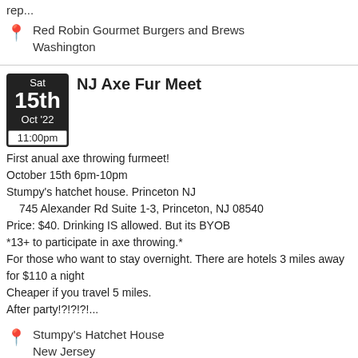rep...
Red Robin Gourmet Burgers and Brews
Washington
NJ Axe Fur Meet
First anual axe throwing furmeet!
October 15th 6pm-10pm
Stumpy's hatchet house. Princeton NJ
745 Alexander Rd Suite 1-3, Princeton, NJ 08540
Price: $40. Drinking IS allowed. But its BYOB
*13+ to participate in axe throwing.*
For those who want to stay overnight. There are hotels 3 miles away for $110 a night
Cheaper if you travel 5 miles.
After party!?!?!?!...
Stumpy's Hatchet House
New Jersey
Ohio Furs: [18+] Willoughby Hills